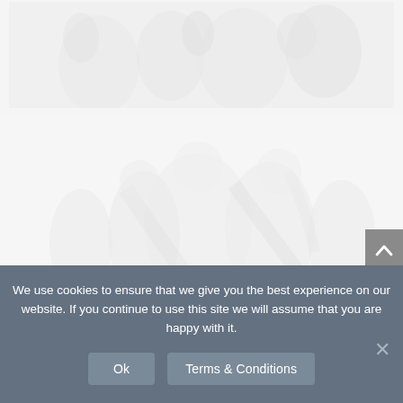[Figure (photo): Faded/watermarked photograph of people, upper section of page - very light, washed out image]
[Figure (photo): Faded/watermarked photograph of people or figures, lower background section - very light, washed out image]
We use cookies to ensure that we give you the best experience on our website. If you continue to use this site we will assume that you are happy with it.
Ok
Terms & Conditions